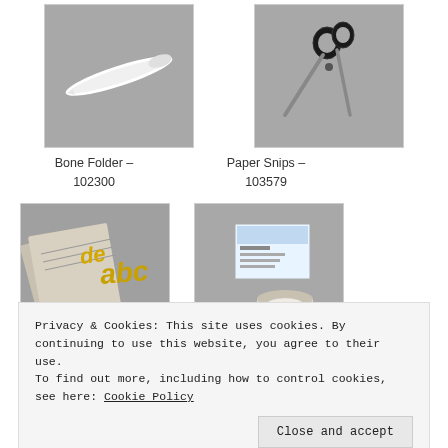[Figure (photo): Photo of a bone folder tool on grey background]
Bone Folder – 102300
[Figure (photo): Photo of paper snips/scissors on grey background]
Paper Snips – 103579
[Figure (photo): Photo of gold decorative embellishments on patterned paper]
[Figure (photo): Photo of stamping tool/kit with packaging]
Privacy & Cookies: This site uses cookies. By continuing to use this website, you agree to their use.
To find out more, including how to control cookies, see here: Cookie Policy
Close and accept